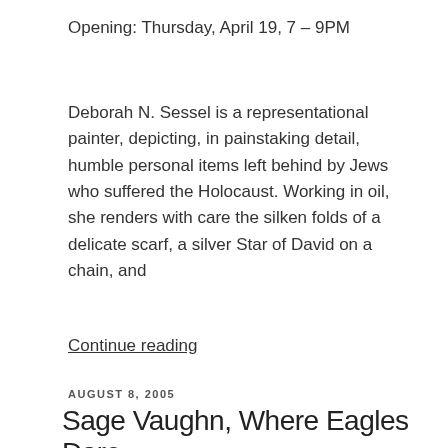Opening: Thursday, April 19, 7 – 9PM
Deborah N. Sessel is a representational painter, depicting, in painstaking detail, humble personal items left behind by Jews who suffered the Holocaust. Working in oil, she renders with care the silken folds of a delicate scarf, a silver Star of David on a chain, and
Continue reading
AUGUST 8, 2005
Sage Vaughn, Where Eagles Dare
[Figure (photo): Photo of a barn owl perched on a branch against a light background, in a gallery or studio setting]